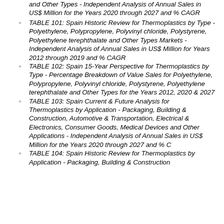and Other Types - Independent Analysis of Annual Sales in US$ Million for the Years 2020 through 2027 and % CAGR
TABLE 101: Spain Historic Review for Thermoplastics by Type - Polyethylene, Polypropylene, Polyvinyl chloride, Polystyrene, Polyethylene terephthalate and Other Types Markets - Independent Analysis of Annual Sales in US$ Million for Years 2012 through 2019 and % CAGR
TABLE 102: Spain 15-Year Perspective for Thermoplastics by Type - Percentage Breakdown of Value Sales for Polyethylene, Polypropylene, Polyvinyl chloride, Polystyrene, Polyethylene terephthalate and Other Types for the Years 2012, 2020 & 2027
TABLE 103: Spain Current & Future Analysis for Thermoplastics by Application - Packaging, Building & Construction, Automotive & Transportation, Electrical & Electronics, Consumer Goods, Medical Devices and Other Applications - Independent Analysis of Annual Sales in US$ Million for the Years 2020 through 2027 and % C
TABLE 104: Spain Historic Review for Thermoplastics by Application - Packaging, Building & Construction